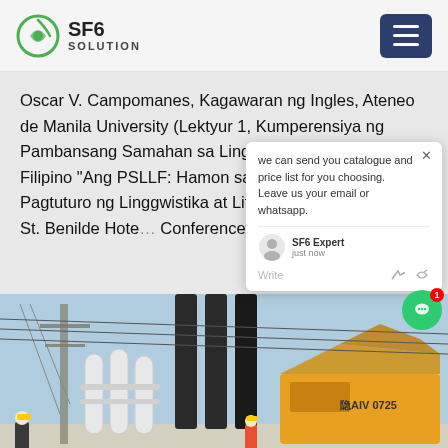SF6 SOLUTION
Oscar V. Campomanes, Kagawaran ng Ingles, Ateneo de Manila University (Lektyur 1, Kumperensiya ng Pambansang Samahan sa Linggwistika at Literaturang Filipino "Ang PSLLF: Hamon sa Pagpapatag sa Pagtuturo ng Linggwistika at Literaturang Filipino," College of St. Benilde Hotel Conference Center, Malate
[Figure (photo): Electrical substation with white cylindrical equipment, large yellow service truck with marking 'A1V 0725', power lines, and workers in hard hats in the foreground.]